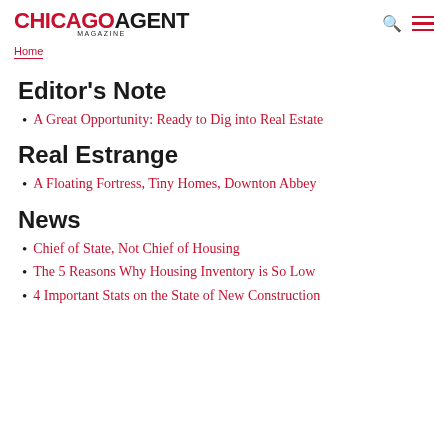CHICAGO AGENT MAGAZINE
Home
Editor's Note
A Great Opportunity: Ready to Dig into Real Estate
Real Estrange
A Floating Fortress, Tiny Homes, Downton Abbey
News
Chief of State, Not Chief of Housing
The 5 Reasons Why Housing Inventory is So Low
4 Important Stats on the State of New Construction